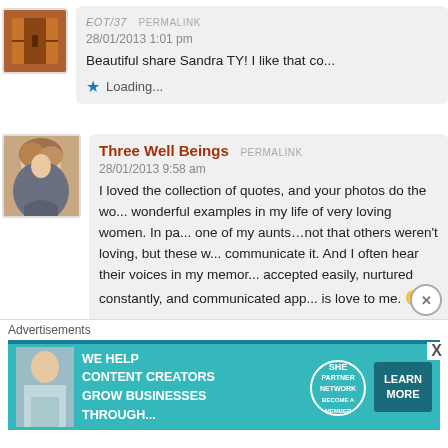eot/37 PERMALINK
28/01/2013 1:01 pm
Beautiful share Sandra TY! I like that co...
Loading...
[Figure (photo): Red building/door avatar image]
[Figure (photo): Woman with short hair avatar image]
Three Well Beings PERMALINK
28/01/2013 9:58 am
I loved the collection of quotes, and your photos do the wo... wonderful examples in my life of very loving women. In pa... one of my aunts…not that others weren't loving, but these w... communicate it. And I often hear their voices in my memor... accepted easily, nurtured constantly, and communicated app... is love to me. 🙂
Loading...
Advertisements
[Figure (infographic): SHE Partner Network advertisement banner: WE HELP CONTENT CREATORS GROW BUSINESSES THROUGH... LEARN MORE]